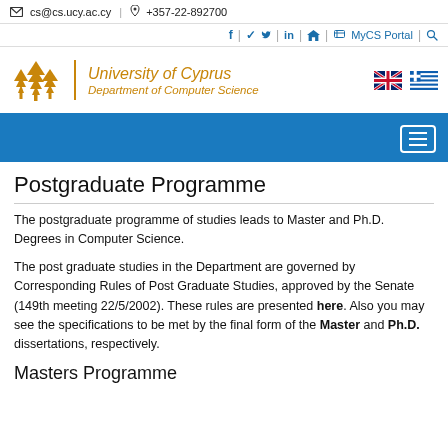✉ cs@cs.ucy.ac.cy | ☎ +357-22-892700
f | 🐦 | in | ☰ | 🏛 MyCS Portal | 🔍
[Figure (logo): University of Cyprus Department of Computer Science logo with gold tree icons]
Postgraduate Programme
The postgraduate programme of studies leads to Master and Ph.D. Degrees in Computer Science.
The post graduate studies in the Department are governed by Corresponding Rules of Post Graduate Studies, approved by the Senate (149th meeting 22/5/2002). These rules are presented here. Also you may see the specifications to be met by the final form of the Master and Ph.D. dissertations, respectively.
Masters Programme